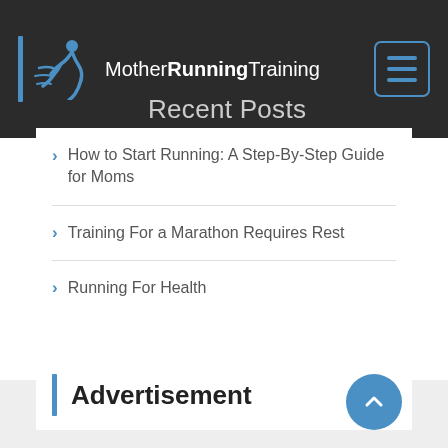MotherRunningTraining
Recent Posts
How to Start Running: A Step-By-Step Guide for Moms
Training For a Marathon Requires Rest
Running For Health
Advertisement